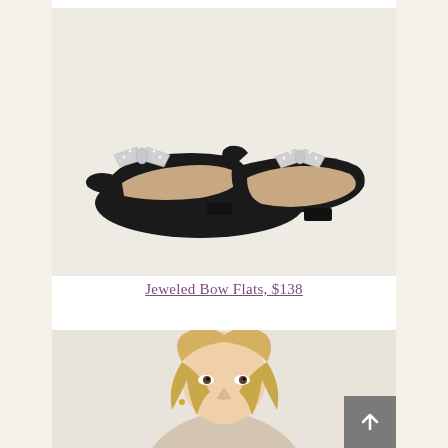[Figure (photo): Two black suede pointed-toe ballet flats with large crystal rhinestone bow embellishments on the toe, shown on a light gray background]
Jeweled Bow Flats, $138
[Figure (photo): Partial view of a blonde woman, showing her head and upper shoulders, against a light background]